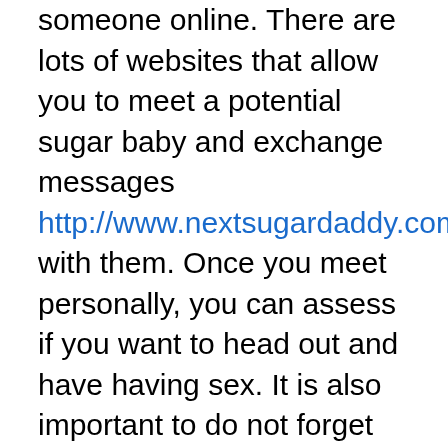someone online. There are lots of websites that allow you to meet a potential sugar baby and exchange messages http://www.nextsugardaddy.com/ with them. Once you meet personally, you can assess if you want to head out and have having sex. It is also important to do not forget that the sugardaddy you meet up with must have the same expectations as you do. You should not expect to help to make millions instantaneous, so you must be realistic with regards to your expectations.
Sugar daddy relationships don't provide you with the usual perks of a natural marriage. While you may like your consumer as a person and find him physically attractive, sugar babies rarely look at their customers as the man of their dreams. They are trying to find someone having a high quality, comfortable, and self-confident personality. And